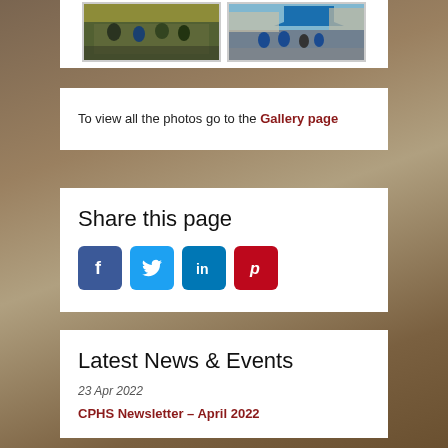[Figure (photo): Two thumbnail photos side by side showing people at events; left photo shows people seated at tables indoors, right photo shows people outdoors under a blue tent]
To view all the photos go to the Gallery page
Share this page
[Figure (infographic): Social media share buttons: Facebook (blue), Twitter (light blue), LinkedIn (dark blue), Pinterest (red)]
Latest News & Events
23 Apr 2022
CPHS Newsletter – April 2022